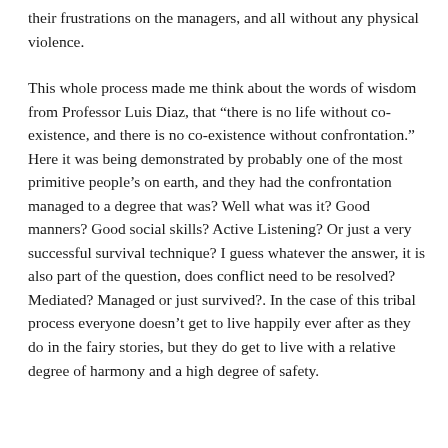their frustrations on the managers, and all without any physical violence.
This whole process made me think about the words of wisdom from Professor Luis Diaz, that “there is no life without co-existence, and there is no co-existence without confrontation.” Here it was being demonstrated by probably one of the most primitive people’s on earth, and they had the confrontation managed to a degree that was? Well what was it? Good manners? Good social skills? Active Listening? Or just a very successful survival technique? I guess whatever the answer, it is also part of the question, does conflict need to be resolved? Mediated? Managed or just survived?. In the case of this tribal process everyone doesn’t get to live happily ever after as they do in the fairy stories, but they do get to live with a relative degree of harmony and a high degree of safety.